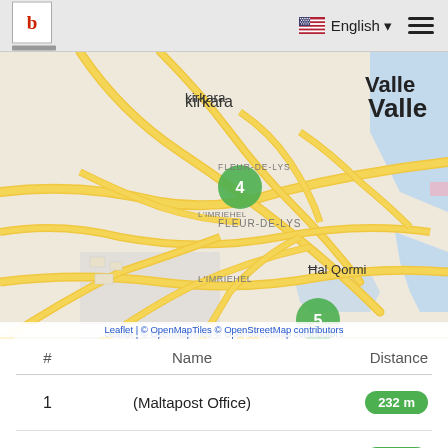b | English ☰
[Figure (map): Interactive map of Malta showing clustered markers: green cluster 4 (Kirkara area), yellow cluster 22 (top center), green cluster 5 (Il-Hamrun area), green cluster 5 (Hal Qormi area), golden cluster 14 (right edge), green cluster visible bottom. Places labeled: kirkara, Ta' Xbiex, Valle, FLEUR-DE-LYS, L'IMRIEHEL, Il-Hamrun, Marsa, Hal Qormi. Attribution: Leaflet | © OpenMapTiles © OpenStreetMap contributors]
| # | Name | Distance |
| --- | --- | --- |
| 1 | (Maltapost Office) | 232 m |
| 2 | (Maltapost Office) | 236 m |